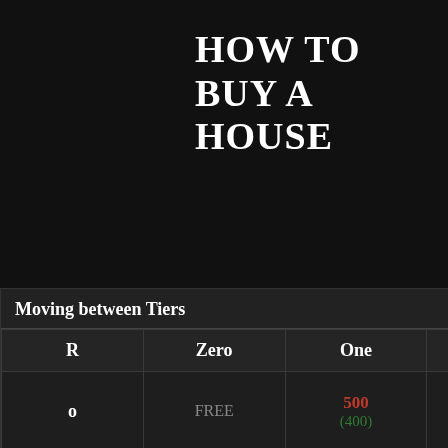HOW TO BUY A HOUSE
Moving between Tiers
| R | Zero | One | Two | Three |
| --- | --- | --- | --- | --- |
| o | FREE | 500
(400) | 5,000
(4,000) | 10,000
(8,000) |
| e | 500
(400) | FREE | 3,000
(2,400) | 8,000
(6,400) |
| o | 5,000
(4,000) | 3,000
(2,400) | FREE | 5,000
(4,000) |
| e | 10,000
(8...) | 8,000
(...) | 5,000
(...) | FREE |